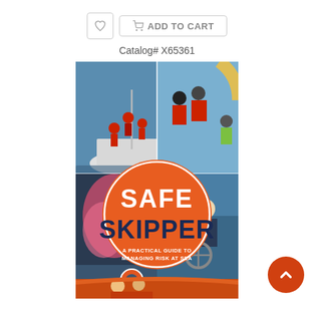[Figure (other): Wishlist heart button and Add To Cart button in a top bar]
Catalog# X65361
[Figure (illustration): Book cover of Safe Skipper: A Practical Guide to Managing Risk at Sea, showing sailing and safety scenes with an orange circle logo in the center]
[Figure (other): Orange circular scroll-to-top button with upward arrow, bottom right corner]